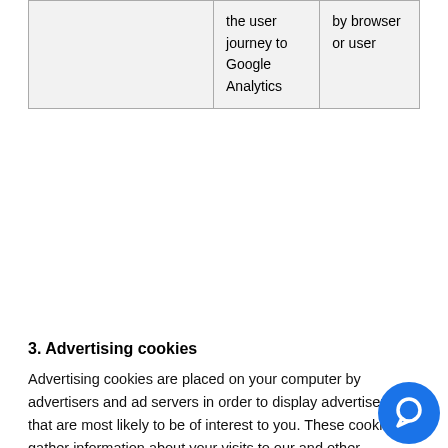|  | the user journey to Google Analytics | by browser or user |
3. Advertising cookies
Advertising cookies are placed on your computer by advertisers and ad servers in order to display advertisements that are most likely to be of interest to you. These cookies gather information about your visits to our and other websites, alternate the ads sent to a specific computer, and track how often an ad has been viewed and by whom. These cookies do not gather any personal information about you. They can be disabled in your browser (see information on that below).